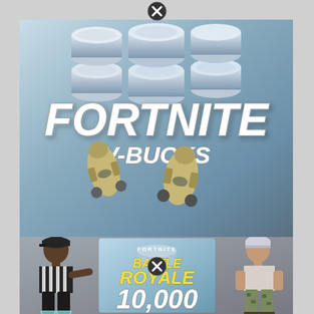[Figure (screenshot): Fortnite V-Bucks promotional image with stacked V-Bucks coins and large FORTNITE V-BUCKS text, with two rockets/missiles in the lower portion]
[Figure (screenshot): Fortnite Battle Royale 10,000 V-Bucks promotional card with two character skins on either side and V-Bucks coins in center background. Text reads FORTNITE BATTLE ROYALE 10,000]